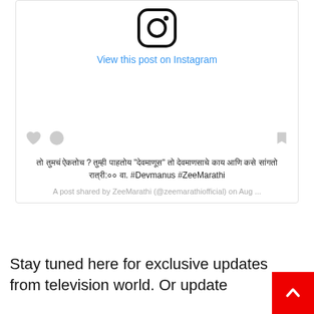[Figure (screenshot): Instagram embed card showing Instagram logo icon at top, 'View this post on Instagram' link in blue, social action icons (heart, comment, bookmark), Marathi caption text with hashtags #Devmanus #ZeeMarathi, and attribution 'A post shared by ZeeMarathi (@zeemarathiofficial) on Aug...']
Stay tuned here for exclusive updates from television world. Or update